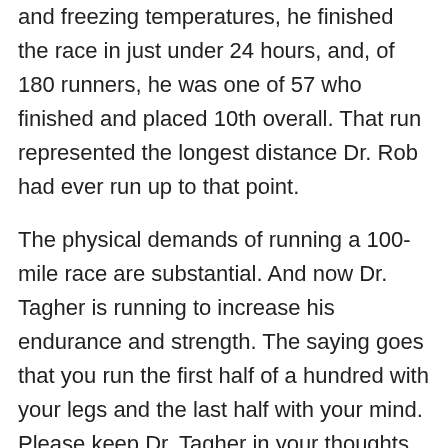and freezing temperatures, he finished the race in just under 24 hours, and, of 180 runners, he was one of 57 who finished and placed 10th overall. That run represented the longest distance Dr. Rob had ever run up to that point.
The physical demands of running a 100-mile race are substantial. And now Dr. Tagher is running to increase his endurance and strength. The saying goes that you run the first half of a hundred with your legs and the last half with your mind. Please keep Dr. Tagher in your thoughts and prayers while he is running so he knows that the entire SHDHS Community cheering him on and supporting the children that Dr. Tagher has committed his life to protecting and keeping healthy.
If you are able, you can also show your support for Dr. Rob